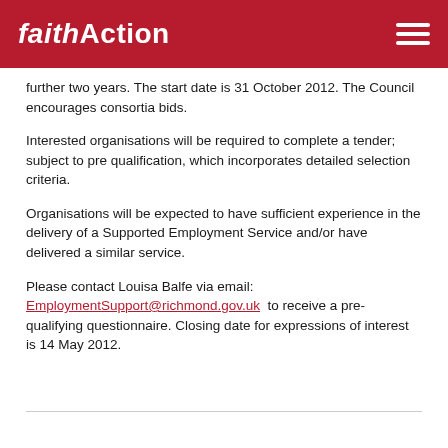FaithAction
further two years. The start date is 31 October 2012. The Council encourages consortia bids.
Interested organisations will be required to complete a tender; subject to pre qualification, which incorporates detailed selection criteria.
Organisations will be expected to have sufficient experience in the delivery of a Supported Employment Service and/or have delivered a similar service.
Please contact Louisa Balfe via email: EmploymentSupport@richmond.gov.uk  to receive a pre-qualifying questionnaire. Closing date for expressions of interest is 14 May 2012.